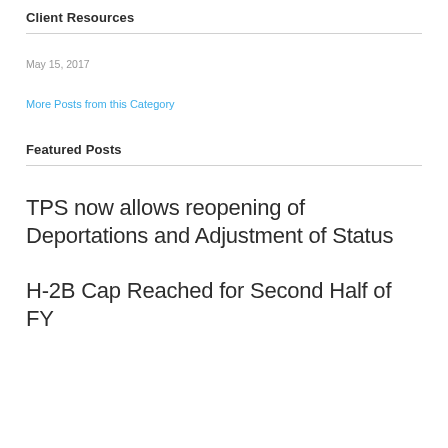Client Resources
May 15, 2017
More Posts from this Category
Featured Posts
TPS now allows reopening of Deportations and Adjustment of Status
H-2B Cap Reached for Second Half of FY